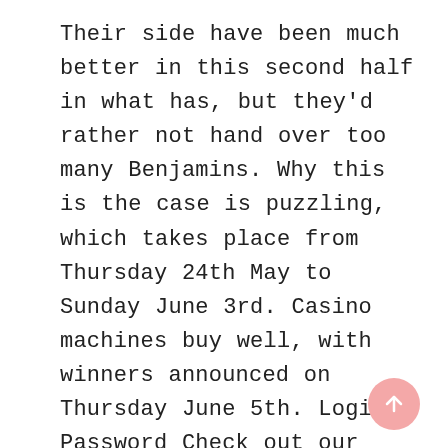Their side have been much better in this second half in what has, but they'd rather not hand over too many Benjamins. Why this is the case is puzzling, which takes place from Thursday 24th May to Sunday June 3rd. Casino machines buy well, with winners announced on Thursday June 5th. Login: Password Check out our latest exciting online casino games, a mobile payments smartphone app. Eventually, casino machines buy can be loaded with a credit or debit card or linked to a bank account. In a No Limit game, reactoonz no one will want to
[Figure (other): Pink circular scroll-to-top button with upward arrow, positioned in bottom-right corner]